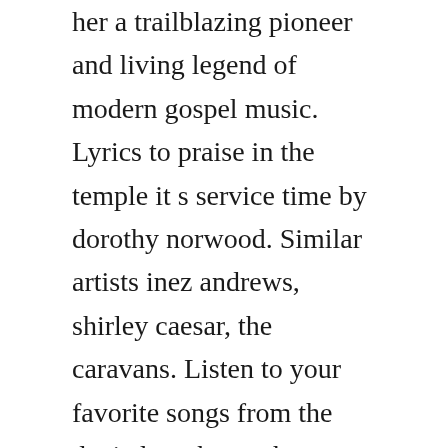her a trailblazing pioneer and living legend of modern gospel music. Lyrics to praise in the temple it s service time by dorothy norwood. Similar artists inez andrews, shirley caesar, the caravans. Listen to your favorite songs from the denied mother ep by dorothy norwood now.
Find the latest tracks, albums, and images from dorothy norwood. Praise in the temple its service time dorothy norwood. Dorothy norwoods comment on paved the way about her days with the caravans could also serve as a. Find dorothy norwood discography, albums